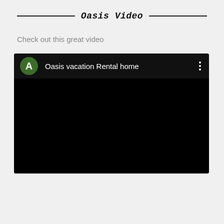Oasis Video
Check out this great video
[Figure (screenshot): A YouTube-style video player showing a black video area with a channel header. The header displays a green circle avatar with the letter 'A', the channel name 'Oasis vacation Rental home', and a three-dot menu icon on the right.]